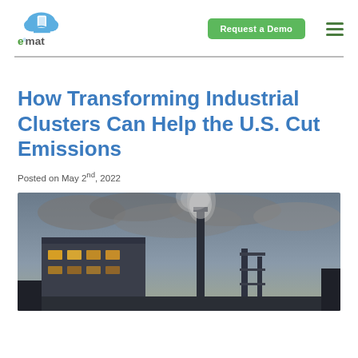emat logo, Request a Demo button, hamburger menu
How Transforming Industrial Clusters Can Help the U.S. Cut Emissions
Posted on May 2nd, 2022
[Figure (photo): Industrial facility with smokestacks emitting smoke against a cloudy sky, photographed at dusk/twilight with factory lights visible]